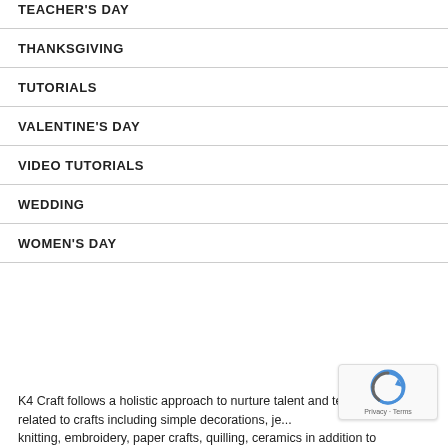TEACHER'S DAY
THANKSGIVING
TUTORIALS
VALENTINE'S DAY
VIDEO TUTORIALS
WEDDING
WOMEN'S DAY
K4 Craft follows a holistic approach to nurture talent and teach everything related to crafts including simple decorations, je... knitting, embroidery, paper crafts, quilling, ceramics in addition to